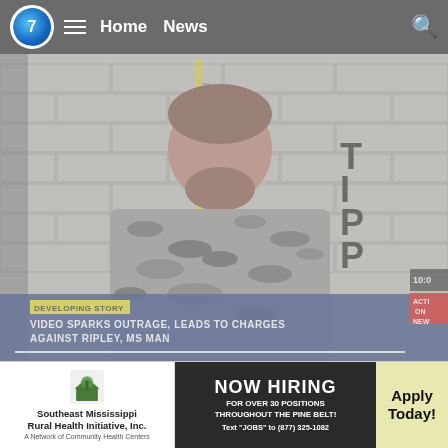7  ≡  Home  News  🔍
[Figure (screenshot): Mugshot-style booking photo of a heavyset white man with brown hair and beard wearing a camouflage patterned shirt, standing against a gray brick wall with a yellow height ruler and 'TIPP' text visible. Lower third overlay reads 'DEVELOPING STORY' and 'VIDEO SPARKS OUTRAGE, LEADS TO CHARGES AGAINST RIPLEY, MS MAN'. Time stamp 10:00 visible. Action News banner in bottom right.]
[Figure (screenshot): Advertisement for Southeast Mississippi Rural Health Initiative, Inc. with 'NOW HIRING FOR OVER 30 POSITIONS THROUGHOUT THE PINE BELT! Text JOBS to (877) 325-1082' and 'Apply Today!' button on yellow background.]